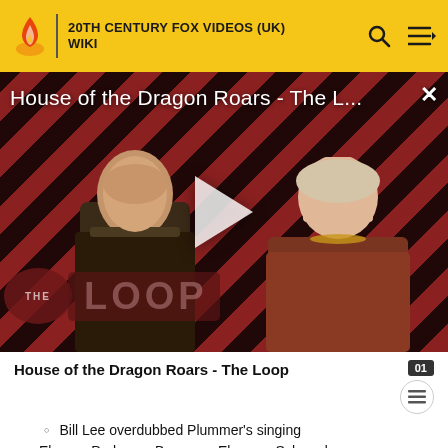20TH CENTURY FOX VIDEOS (UK) WIKI
[Figure (screenshot): Video thumbnail for House of the Dragon Roars - The Loop, showing two characters against a diagonal red and black striped background with THE LOOP logo overlay and a play button in the center]
House of the Dragon Roars - The Loop
Bill Lee overdubbed Plummer's singing
Eleanor Parker as Baroness Elsa von Schraeder
Richard Haydn as Max Detweiler